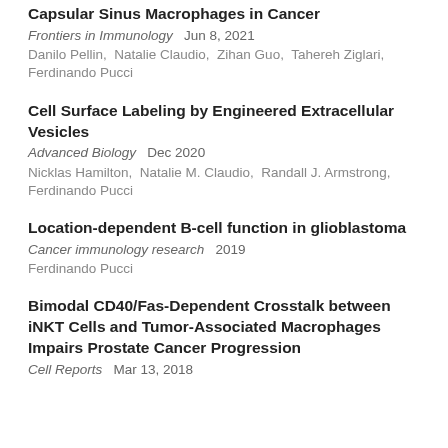Capsular Sinus Macrophages in Cancer
Frontiers in Immunology   Jun 8, 2021
Danilo Pellin, Natalie Claudio, Zihan Guo, Tahereh Ziglari, Ferdinando Pucci
Cell Surface Labeling by Engineered Extracellular Vesicles
Advanced Biology   Dec 2020
Nicklas Hamilton, Natalie M. Claudio, Randall J. Armstrong, Ferdinando Pucci
Location-dependent B-cell function in glioblastoma
Cancer immunology research   2019
Ferdinando Pucci
Bimodal CD40/Fas-Dependent Crosstalk between iNKT Cells and Tumor-Associated Macrophages Impairs Prostate Cancer Progression
Cell Reports   Mar 13, 2018